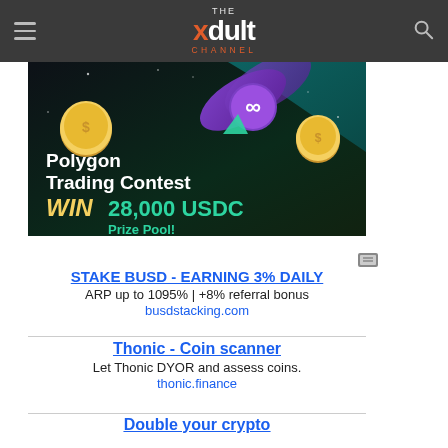THE xdult CHANNEL
[Figure (illustration): Polygon Trading Contest banner: dark background with gold coins, a purple Polygon logo token, geometric shapes, text 'Polygon Trading Contest WIN 28,000 USDC Prize Pool!']
STAKE BUSD - EARNING 3% DAILY
ARP up to 1095% | +8% referral bonus
busdstacking.com
Thonic - Coin scanner
Let Thonic DYOR and assess coins.
thonic.finance
Double your crypto